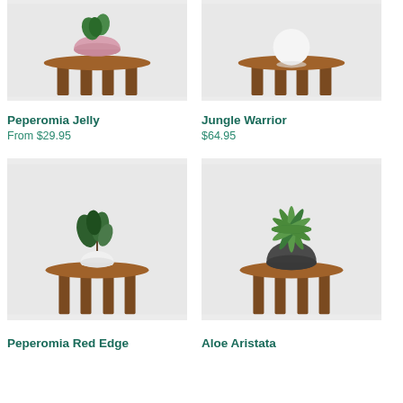[Figure (photo): Photo of Peperomia Jelly plant in a pink speckled pot on a wooden stool, light grey background]
[Figure (photo): Photo of Jungle Warrior plant (white round object) on a wooden stool, light grey background]
Peperomia Jelly
From $29.95
Jungle Warrior
$64.95
[Figure (photo): Photo of Peperomia Red Edge plant in a small white pot on a wooden stool, light grey background]
[Figure (photo): Photo of Aloe Aristata in a dark grey/charcoal speckled pot on a wooden stool, light grey background]
Peperomia Red Edge
Aloe Aristata